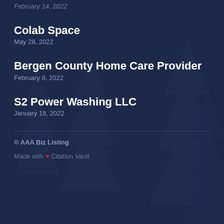February 14, 2022
Colab Space
May 28, 2022
Bergen County Home Care Provider
February 8, 2022
S2 Power Washing LLC
January 18, 2022
© AAA Biz Listing
Made with ❤ Citation Vault